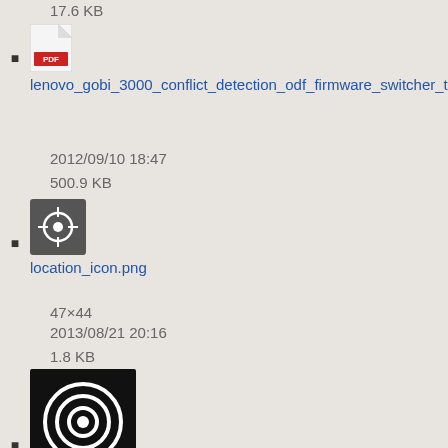17.6 KB
lenovo_gobi_3000_conflict_detection_odf_firmware_switcher_t...
2012/09/10 18:47
500.9 KB
location_icon.png
47×44
2013/08/21 20:16
1.8 KB
locationicon_windows_phone.png
91×89
2013/09/30 16:51